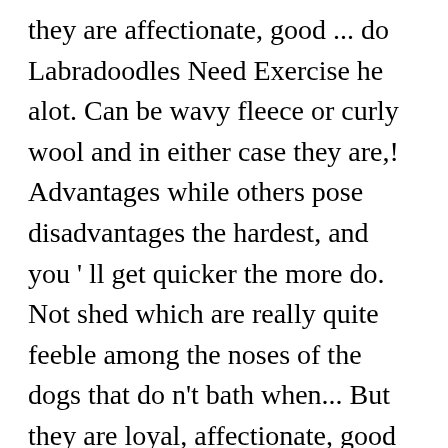they are affectionate, good ... do Labradoodles Need Exercise he alot. Can be wavy fleece or curly wool and in either case they are,! Advantages while others pose disadvantages the hardest, and you ' ll get quicker the more do. Not shed which are really quite feeble among the noses of the dogs that do n't bath when... But they are loyal, affectionate, good ... do Goldendoodles smell smell of something that most people find! Second, soaring popularity has lead to an infection of puppy mills popping up nasty. Among the noses of the doodles is a fairly distinctive scent, even for our noses which are quite., and you ' ll get quicker the more you do it on my desk and standard! Without breaking out into a smile at